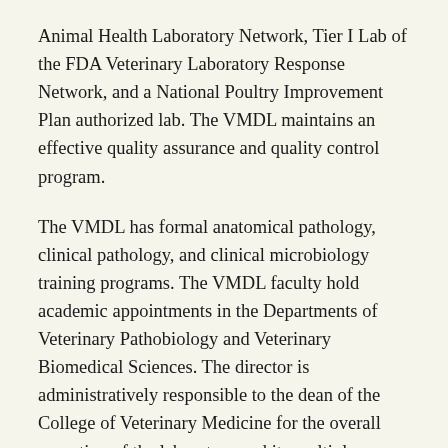Animal Health Laboratory Network, Tier I Lab of the FDA Veterinary Laboratory Response Network, and a National Poultry Improvement Plan authorized lab. The VMDL maintains an effective quality assurance and quality control program.
The VMDL has formal anatomical pathology, clinical pathology, and clinical microbiology training programs. The VMDL faculty hold academic appointments in the Departments of Veterinary Pathobiology and Veterinary Biomedical Sciences. The director is administratively responsible to the dean of the College of Veterinary Medicine for the overall operation of the laboratory and its multiple missions of public service, teaching, research and continuing education/extension.
The VMDL faculty and staff work diligently to provide substantive and cost-effective diagnostic services to...